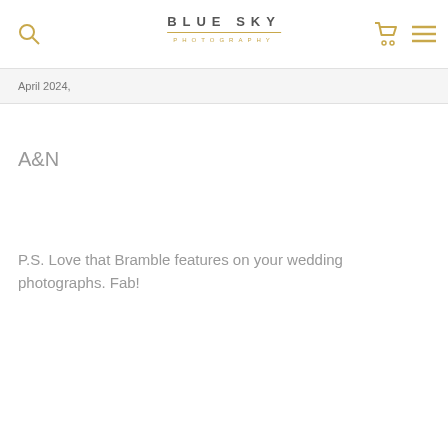BLUE SKY PHOTOGRAPHY
April 2024,
A&N
P.S. Love that Bramble features on your wedding photographs. Fab!